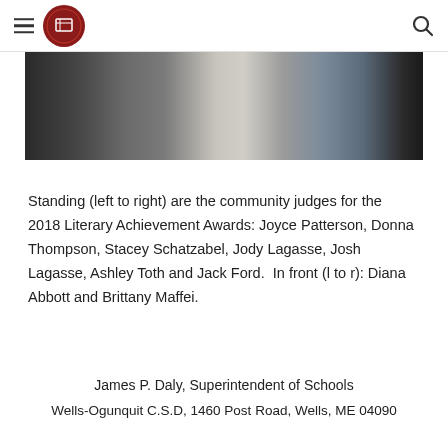Wells-Ogunquit Community School District — navigation header with logo
[Figure (photo): Group photo of community judges standing in what appears to be a library or school setting]
Standing (left to right) are the community judges for the 2018 Literary Achievement Awards: Joyce Patterson, Donna Thompson, Stacey Schatzabel, Jody Lagasse, Josh Lagasse, Ashley Toth and Jack Ford.  In front (l to r): Diana Abbott and Brittany Maffei.
James P. Daly, Superintendent of Schools
Wells-Ogunquit C.S.D, 1460 Post Road, Wells, ME 04090